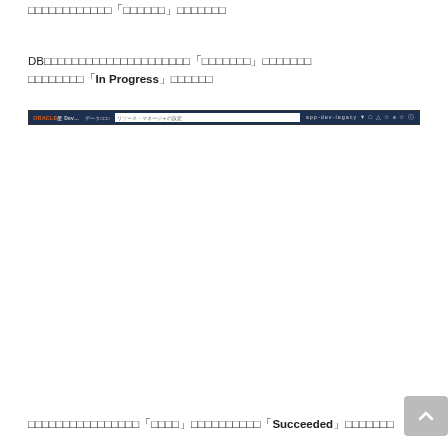□□□□□□□□□□□□「□□□□□□」□□□□□□□
DB□□□□□□□□□□□□□□□□□□□□□「□□□□□□□」□□□□□□□
□□□□□□□□「In Progress」□□□□□□
[Figure (screenshot): Oracle web application browser navigation bar screenshot showing Oracle logo, navigation tabs, and URL/search bar area with dark navy background]
□□□□□□□□□□□□□□□□「□□□□」□□□□□□□□□□「Succeeded」□□□□□□□